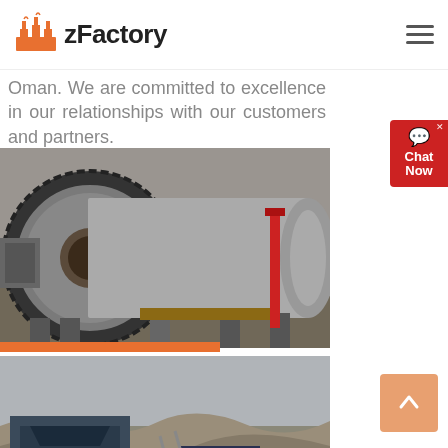zFactory
Oman. We are committed to excellence in our relationships with our customers and partners.
[Figure (photo): Industrial ball mill machine in a factory warehouse, cylindrical grey machine with large gear ring]
[Figure (photo): Mining or quarrying equipment with conveyor belts and crushing machinery at a rocky quarry site]